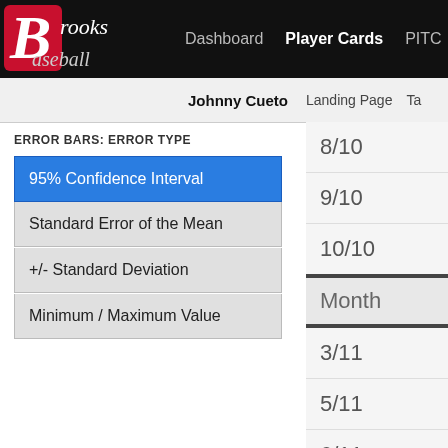Brooks Baseball — Dashboard | Player Cards | PITC...
Johnny Cueto — Landing Page | Ta...
ERROR BARS: ERROR TYPE
95% Confidence Interval
Standard Error of the Mean
+/- Standard Deviation
Minimum / Maximum Value
8/10
9/10
10/10
Month
3/11
5/11
6/11
7/11
8/11
9/11